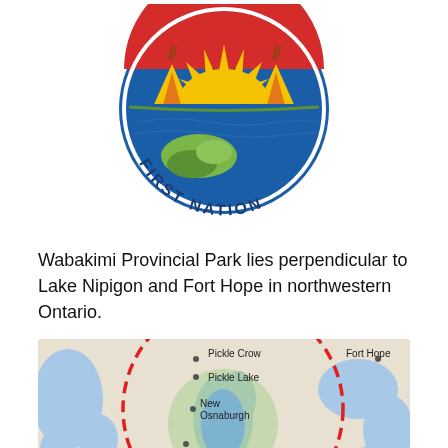[Figure (logo): Circular First Nation logo with a red background at top showing two teepees and a sun, blue water in the middle, green lily pad in the lower portion, with text 'FIRST NATION' along the bottom arc in blue.]
Wabakimi Provincial Park lies perpendicular to Lake Nipigon and Fort Hope in northwestern Ontario.
[Figure (map): A map showing the Wabakimi Provincial Park area in northwestern Ontario. Locations labeled include Pickle Crow, Pickle Lake, New Osnaburgh, Osnaburgh House, and Fort Hope. A red dashed circle outlines the park area. The map shows blue water bodies (lakes) and green/tan land areas.]